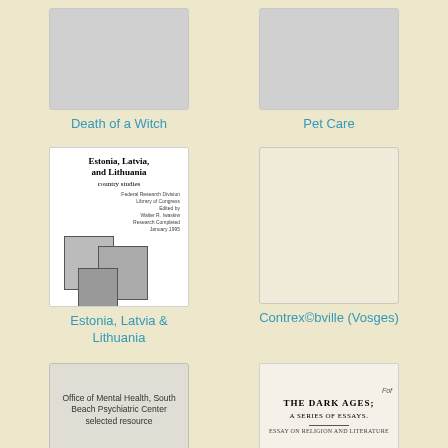[Figure (illustration): Gray placeholder book cover for Death of a Witch]
Death of a Witch
[Figure (illustration): Gray placeholder book cover for Pet Care]
Pet Care
[Figure (illustration): Book cover: Estonia, Latvia, and Lithuania country studies with architectural illustrations]
Estonia, Latvia & Lithuania
[Figure (illustration): Cream/blank book cover for Contrexéville (Vosges)]
Contrex©bville (Vosges)
[Figure (illustration): Gray book cover: Office of Mental Health, South Beach Psychiatric Center selected resource]
Office of Mental Health, South Beach Psychiatric Center selected resource
[Figure (illustration): Old book cover: The Dark Ages; A Series of Essays]
The Dark Ages; A Series of Essays